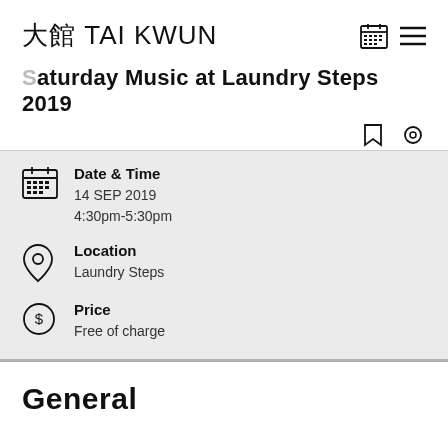大館 TAI KWUN
Saturday Music at Laundry Steps 2019
Date & Time
14 SEP 2019
4:30pm-5:30pm
Location
Laundry Steps
Price
Free of charge
General